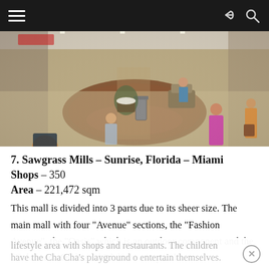[Figure (photo): Interior of Sawgrass Mills mall showing shoppers walking through a wide corridor with a circular wood-floored seating area, a large potted plant, and retail stores visible in the background.]
7. Sawgrass Mills – Sunrise, Florida – Miami
Shops – 350
Area – 221,472 sqm
This mall is divided into 3 parts due to its sheer size. The main mall with four “Avenue” sections, the “Fashion Avenue”, the “Oasis” which is an outdoor component and the “Colonnade Outlets which have an upscale lifestyle area with shops and restaurants. The children have the Cha Cha’s playground to entertain themselves.